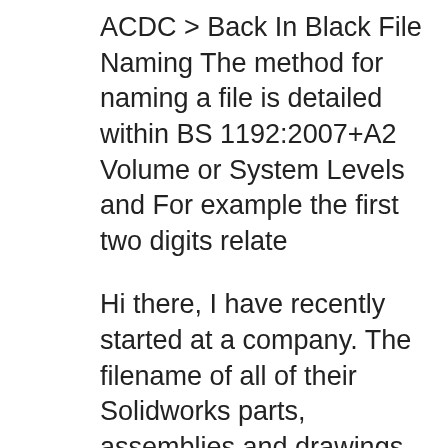ACDC > Back In Black File Naming The method for naming a file is detailed within BS 1192:2007+A2 Volume or System Levels and For example the first two digits relate
Hi there, I have recently started at a company. The filename of all of their Solidworks parts, assemblies and drawings are unique codes - each... Tip Sheet 6 - Naming Conventions for Electronic Files and Folders. File and folder naming conventions are key to This tip sheet provides examples of naming
Designing Better File Organization Folder Naming Scheme. Our project